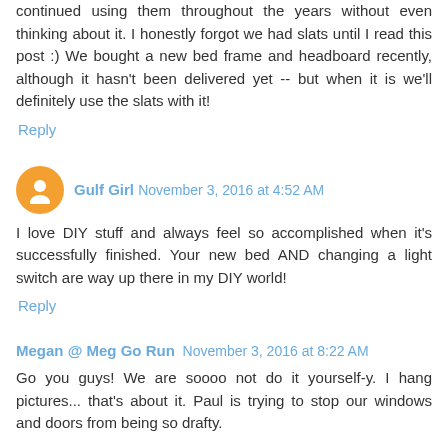continued using them throughout the years without even thinking about it. I honestly forgot we had slats until I read this post :) We bought a new bed frame and headboard recently, although it hasn't been delivered yet -- but when it is we'll definitely use the slats with it!
Reply
Gulf Girl  November 3, 2016 at 4:52 AM
I love DIY stuff and always feel so accomplished when it's successfully finished. Your new bed AND changing a light switch are way up there in my DIY world!
Reply
Megan @ Meg Go Run  November 3, 2016 at 8:22 AM
Go you guys! We are soooo not do it yourself-y. I hang pictures... that's about it. Paul is trying to stop our windows and doors from being so drafty.
Our bed is the annoying rolling bed frame bed! The one in